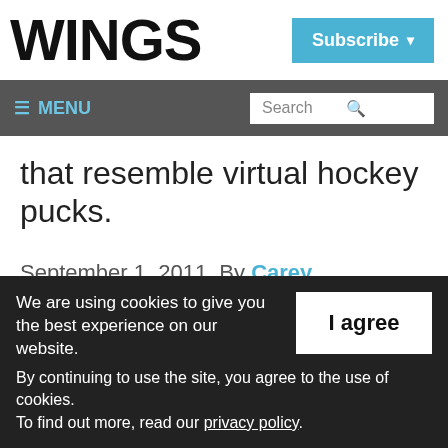WINGS | Subscribe
≡ MENU | Search
that resemble virtual hockey pucks.
September 1, 2011  By Carey Fredericks
The adoption of Automatic Dependent Surveillance Broadcast (ADS-B) enabled
We are using cookies to give you the best experience on our website. By continuing to use the site, you agree to the use of cookies. To find out more, read our privacy policy.